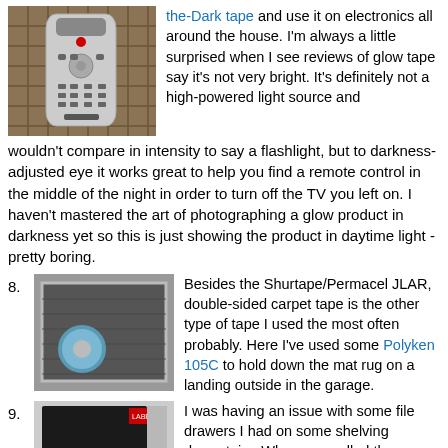[Figure (photo): Photo of a TV remote control on a wicker/rattan surface]
the-Dark tape and use it on electronics all around the house. I'm always a little surprised when I see reviews of glow tape say it's not very bright. It's definitely not a high-powered light source and wouldn't compare in intensity to say a flashlight, but to darkness-adjusted eye it works great to help you find a remote control in the middle of the night in order to turn off the TV you left on. I haven't mastered the art of photographing a glow product in darkness yet so this is just showing the product in daytime light - pretty boring.
8. Besides the Shurtape/Permacel JLAR, double-sided carpet tape is the other type of tape I used the most often probably. Here I've used some Polyken 105C to hold down the mat rug on a landing outside in the garage.
[Figure (photo): Photo of a blue tape roll on a gray carpet mat/rug]
9. I was having an issue with some file drawers I had on some shelving downstairs. When you pulled the drawer